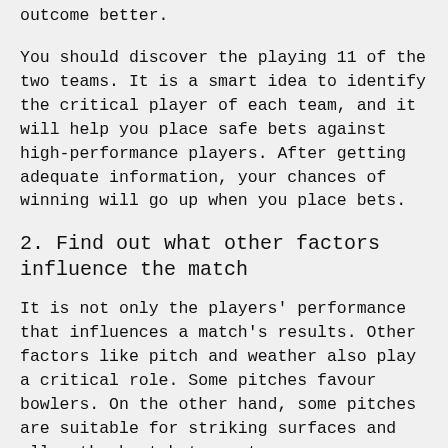outcome better.
You should discover the playing 11 of the two teams. It is a smart idea to identify the critical player of each team, and it will help you place safe bets against high-performance players. After getting adequate information, your chances of winning will go up when you place bets.
2. Find out what other factors influence the match
It is not only the players' performance that influences a match's results. Other factors like pitch and weather also play a critical role. Some pitches favour bowlers. On the other hand, some pitches are suitable for striking surfaces and allow the best batsman to score as many runs as possible.
In addition, weather conditions should also be considered if you intend to place a bet. It could rain on the date of the match, and then the odds of playing all-overs are very slim. If a game is stopped mid-way because of the rain, the results of the game are significantly impacted.